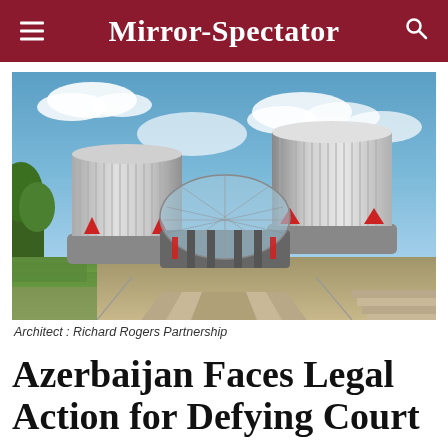Mirror-Spectator
[Figure (photo): Exterior photo of the European Court of Human Rights building in Strasbourg, featuring distinctive cylindrical silver towers with glass facade entrance, red structural supports, green lawn in foreground, and blue sky with clouds.]
Architect : Richard Rogers Partnership
Azerbaijan Faces Legal Action for Defying Court